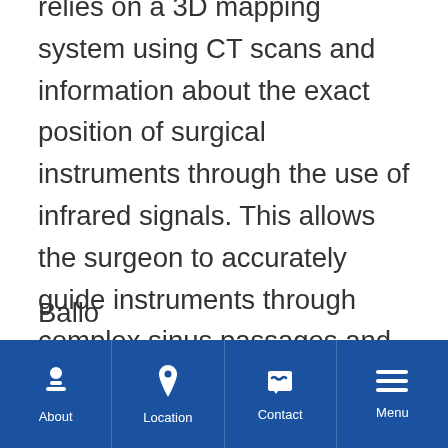relies on a 3D mapping system using CT scans and information about the exact position of surgical instruments through the use of infrared signals. This allows the surgeon to accurately guide instruments through complex sinus passages and is especially helpful for those with chronic sinusitis or when previous sinus surgery has changed the usual anatomy of the sinuses.
Ballo...
About | Location | Contact | Menu